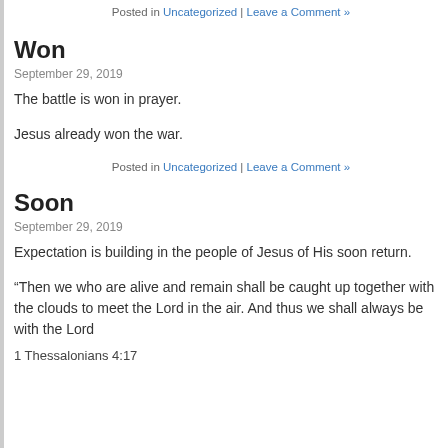Posted in Uncategorized | Leave a Comment »
Won
September 29, 2019
The battle is won in prayer.
Jesus already won the war.
Posted in Uncategorized | Leave a Comment »
Soon
September 29, 2019
Expectation is building in the people of Jesus of His soon return.
“Then we who are alive and remain shall be caught up together with the clouds to meet the Lord in the air. And thus we shall always be with the Lord
1 Thessalonians 4:17